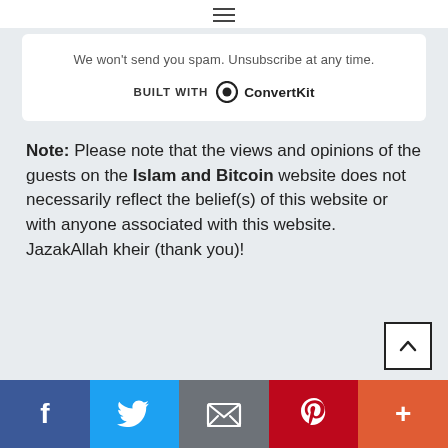[Figure (other): Hamburger menu icon (three horizontal lines)]
We won't send you spam. Unsubscribe at any time.
BUILT WITH ConvertKit
Note: Please note that the views and opinions of the guests on the Islam and Bitcoin website does not necessarily reflect the belief(s) of this website or with anyone associated with this website. JazakAllah kheir (thank you)!
[Figure (other): Back to top arrow button]
[Figure (other): Social share bar with Facebook, Twitter, Email, Pinterest, and More buttons]